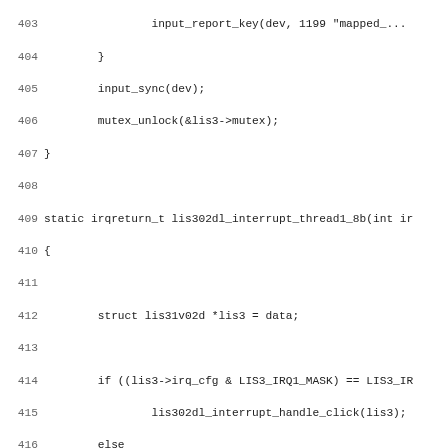Source code listing, lines 403-435, C kernel driver code for lis302dl/lis31v02d accelerometer interrupt handling and misc device open functions.